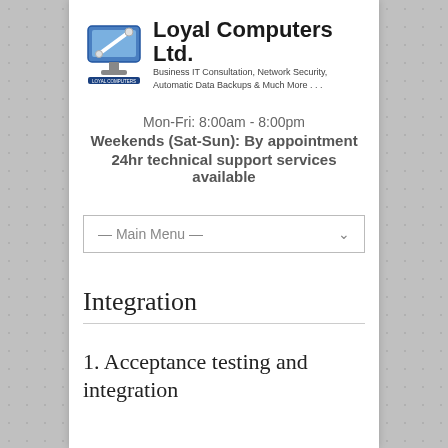[Figure (logo): Loyal Computers Ltd. logo with computer icon and text: Business IT Consultation, Network Security, Automatic Data Backups & Much More ...]
Mon-Fri: 8:00am - 8:00pm
Weekends (Sat-Sun): By appointment
24hr technical support services available
[Figure (screenshot): Main Menu dropdown selector]
Integration
1. Acceptance testing and integration